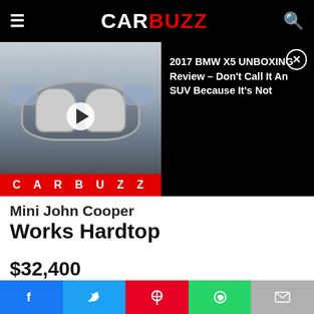CARBUZZ
[Figure (screenshot): Video thumbnail of 2017 BMW X5 front view with CARBUZZ branding and play button overlay]
2017 BMW X5 UNBOXING Review - Don't Call It An SUV Because It's Not
Mini John Cooper Works Hardtop
$32,400
Price (MSRP)
Mini John Cooper Works Hardtop For Sale
[Figure (infographic): Advertisement banner: Save Up to 65% Leesburg Premium Outlets]
Social share buttons: Facebook, Twitter, Pinterest, WhatsApp, Email